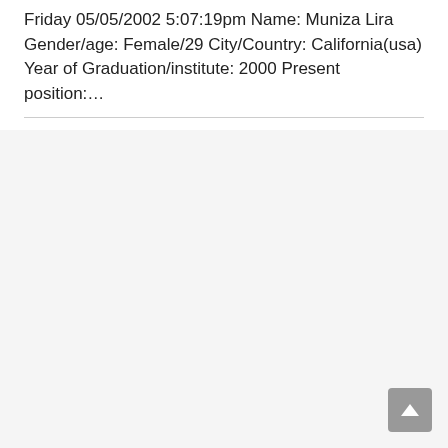Friday 05/05/2002 5:07:19pm Name: Muniza Lira Gender/age: Female/29 City/Country: California(usa) Year of Graduation/institute: 2000 Present position:…